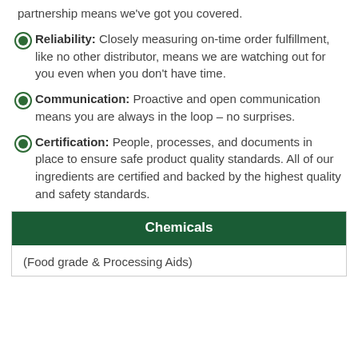partnership means we've got you covered.
Reliability: Closely measuring on-time order fulfillment, like no other distributor, means we are watching out for you even when you don't have time.
Communication: Proactive and open communication means you are always in the loop – no surprises.
Certification: People, processes, and documents in place to ensure safe product quality standards. All of our ingredients are certified and backed by the highest quality and safety standards.
| Chemicals |
| --- |
| (Food grade & Processing Aids) |